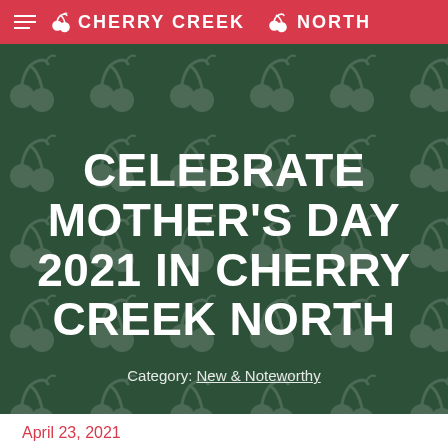CHERRY CREEK NORTH
CELEBRATE MOTHER'S DAY 2021 IN CHERRY CREEK NORTH
Category: New & Noteworthy
April 23, 2021